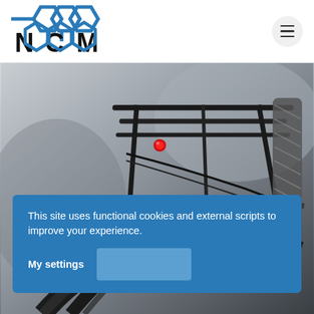[Figure (logo): NCM logo with hexagonal chain link design in blue and bold black letters N, C, M]
[Figure (photo): Close-up photo of a bicycle rear rack with a red tail light, black rack straps, and a bungee cord, against a blurred background]
This site uses functional cookies and external scripts to improve your experience.
My settings